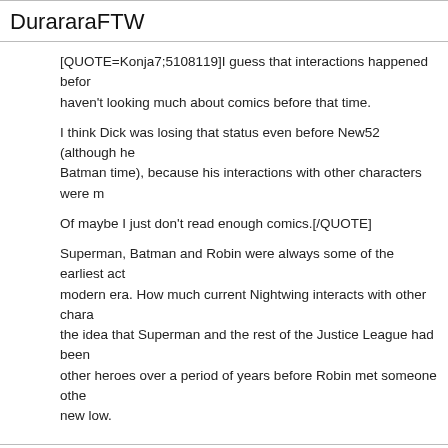DurararaFTW
[QUOTE=Konja7;5108119]I guess that interactions happened before, I haven't looking much about comics before that time.

I think Dick was losing that status even before New52 (although he Batman time), because his interactions with other characters were m

Of maybe I just don't read enough comics.[/QUOTE]

Superman, Batman and Robin were always some of the earliest act modern era. How much current Nightwing interacts with other chara the idea that Superman and the rest of the Justice League had been other heroes over a period of years before Robin met someone othe new low.
Claude
Yeah, if it were up to me? I'd bring back the idea that - at least in the "Batman And Robin" were an inseparable team. Batman wouldn't ap week, and Coast City the next, it isn't Batman you'd call for help in s walking down an alley in Gotham City and someone pulls a gun on y appear... It's [I]Batman and Robin.[/I]